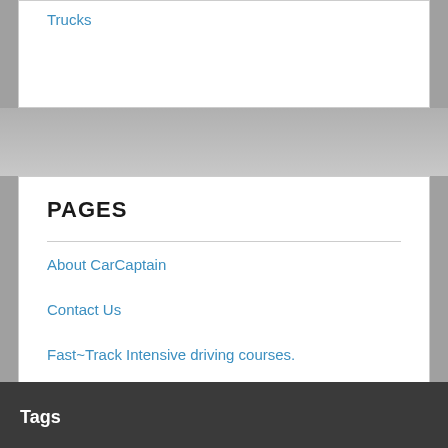Trucks
PAGES
About CarCaptain
Contact Us
Fast~Track Intensive driving courses.
Services – Call 020 7099 1232
Why Blog about Driving?
Tags